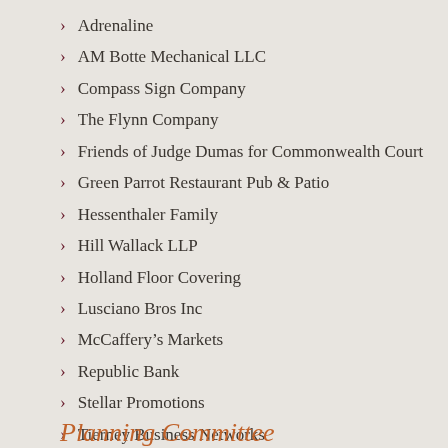Adrenaline
AM Botte Mechanical LLC
Compass Sign Company
The Flynn Company
Friends of Judge Dumas for Commonwealth Court
Green Parrot Restaurant Pub & Patio
Hessenthaler Family
Hill Wallack LLP
Holland Floor Covering
Lusciano Bros Inc
McCaffery’s Markets
Republic Bank
Stellar Promotions
Tierney Business Networks
Warwick Family Services
Planning Committee